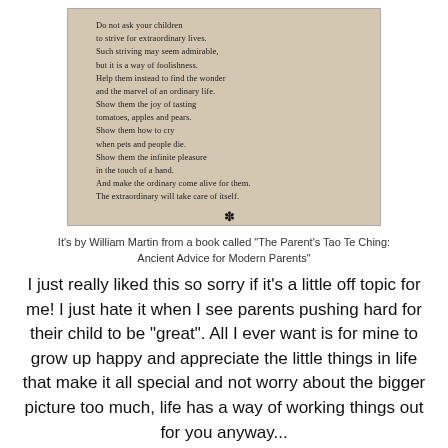[Figure (photo): A photograph of a book page showing a poem]
It's by William Martin from a book called "The Parent's Tao Te Ching: Ancient Advice for Modern Parents"
I just really liked this so sorry if it's a little off topic for me! I just hate it when I see parents pushing hard for their child to be "great". All I ever want is for mine to grow up happy and appreciate the little things in life that make it all special and not worry about the bigger picture too much, life has a way of working things out for you anyway...